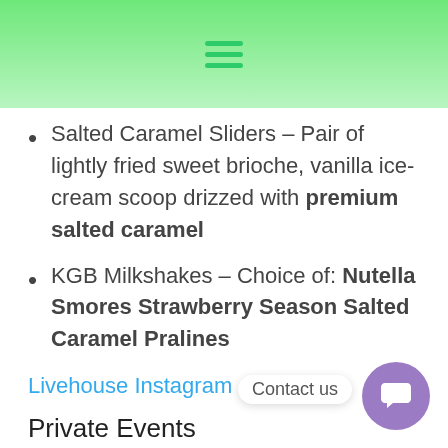≡
Salted Caramel Sliders – Pair of lightly fried sweet brioche, vanilla ice-cream scoop drizzed with premium salted caramel
KGB Milkshakes – Choice of: Nutella Smores Strawberry Season Salted Caramel Pralines
Livehouse Instagram
Private Events
We Have Hosted Events For Ground Floor The ground floor at Livehouse is a open plan room that offers generous space for